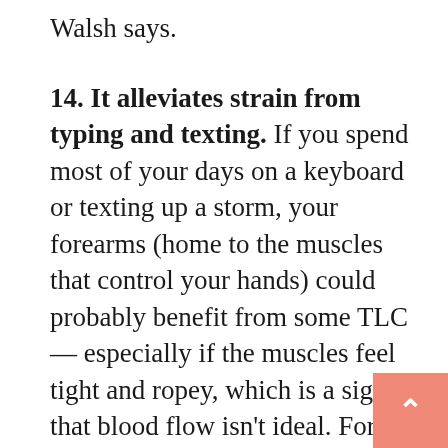Walsh says.
14. It alleviates strain from typing and texting.
If you spend most of your days on a keyboard or texting up a storm, your forearms (home to the muscles that control your hands) could probably benefit from some TLC — especially if the muscles feel tight and ropey, which is a sign that blood flow isn't ideal. For a fast fix, grab one forearm with your thumb underneath the arm. Dig your finger pads into